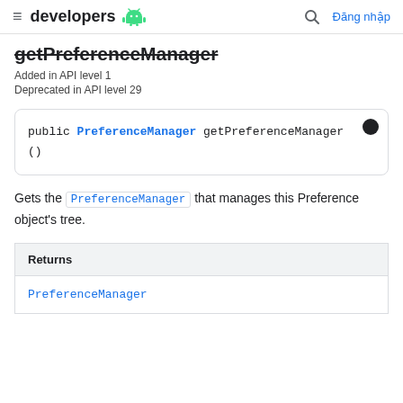developers  Đăng nhập
getPreferenceManager
Added in API level 1
Deprecated in API level 29
public PreferenceManager getPreferenceManager ()
Gets the PreferenceManager that manages this Preference object's tree.
| Returns |
| --- |
| PreferenceManager |